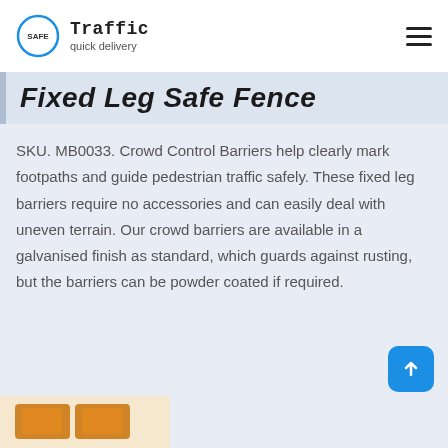Traffic quick delivery
Fixed Leg Safe Fence
SKU. MB0033. Crowd Control Barriers help clearly mark footpaths and guide pedestrian traffic safely. These fixed leg barriers require no accessories and can easily deal with uneven terrain. Our crowd barriers are available in a galvanised finish as standard, which guards against rusting, but the barriers can be powder coated if required.
[Figure (photo): Product image showing orange/yellow crowd control barriers at the bottom of the page]